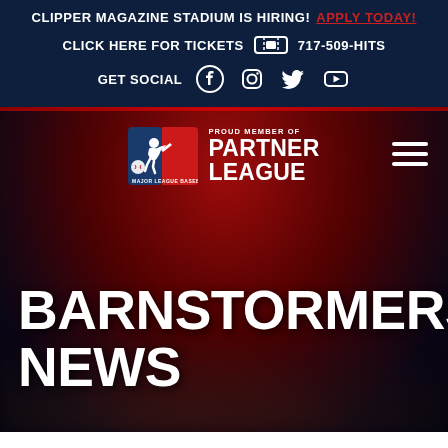CLIPPER MAGAZINE STADIUM IS HIRING! APPLY TODAY!
CLICK HERE FOR TICKETS  717-509-HITS
GET SOCIAL
[Figure (logo): MLB Proud Member of Partner League logo with hamburger menu icon]
BARNSTORMERS NEWS